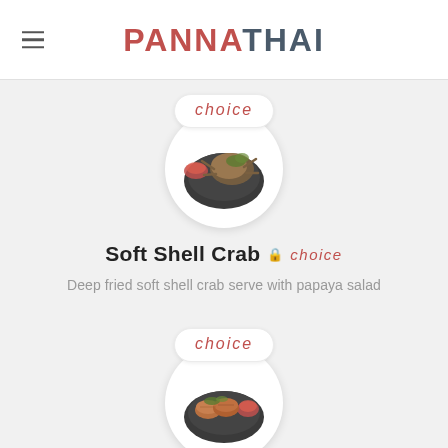PANNATHAI
[Figure (photo): Food photo of soft shell crab on a dark plate with sauce, inside a white circular frame with a 'choice' label bubble above]
Soft Shell Crab 🔒 choice
Deep fried soft shell crab serve with papaya salad
[Figure (photo): Food photo of fish cakes on a dark plate with dipping sauce, inside a white circular frame with a 'choice' label bubble above]